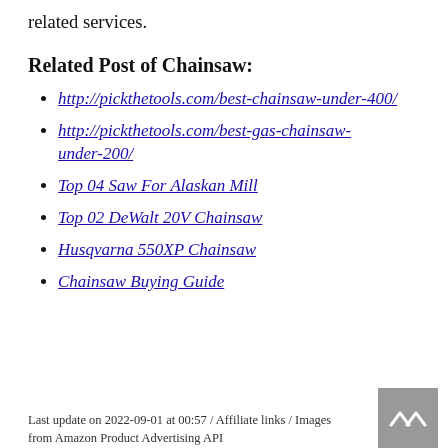related services.
Related Post of Chainsaw:
http://pickthetools.com/best-chainsaw-under-400/
http://pickthetools.com/best-gas-chainsaw-under-200/
Top 04 Saw For Alaskan Mill
Top 02 DeWalt 20V Chainsaw
Husqvarna 550XP Chainsaw
Chainsaw Buying Guide
Last update on 2022-09-01 at 00:57 / Affiliate links / Images from Amazon Product Advertising API